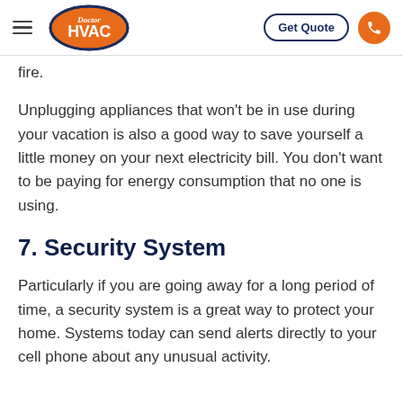Doctor HVAC | Get Quote | Phone
fire.
Unplugging appliances that won't be in use during your vacation is also a good way to save yourself a little money on your next electricity bill. You don't want to be paying for energy consumption that no one is using.
7. Security System
Particularly if you are going away for a long period of time, a security system is a great way to protect your home. Systems today can send alerts directly to your cell phone about any unusual activity.